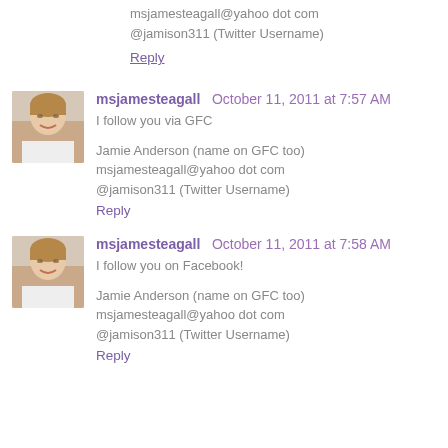msjamesteagall@yahoo dot com
@jamison311 (Twitter Username)
Reply
msjamesteagall  October 11, 2011 at 7:57 AM
I follow you via GFC
Jamie Anderson (name on GFC too)
msjamesteagall@yahoo dot com
@jamison311 (Twitter Username)
Reply
msjamesteagall  October 11, 2011 at 7:58 AM
I follow you on Facebook!
Jamie Anderson (name on GFC too)
msjamesteagall@yahoo dot com
@jamison311 (Twitter Username)
Reply